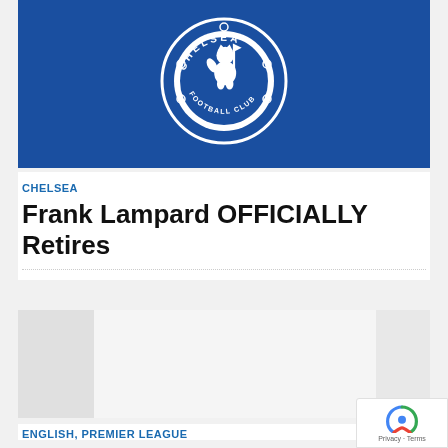[Figure (logo): Chelsea Football Club crest/logo on blue background banner]
CHELSEA
Frank Lampard OFFICIALLY Retires
[Figure (photo): Three image placeholders in a row (gray boxes representing article images)]
ENGLISH, PREMIER LEAGUE